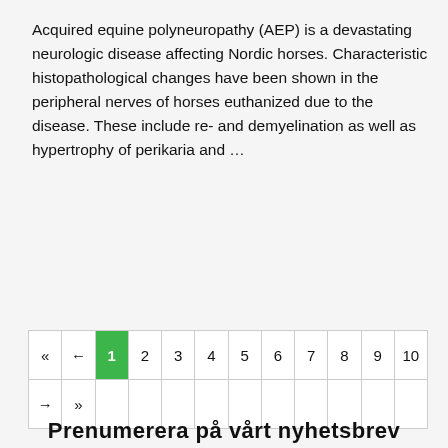Acquired equine polyneuropathy (AEP) is a devastating neurologic disease affecting Nordic horses. Characteristic histopathological changes have been shown in the peripheral nerves of horses euthanized due to the disease. These include re- and demyelination as well as hypertrophy of perikaria and …
Läs mer
| « | ← | 1 | 2 | 3 | 4 | 5 | 6 | 7 | 8 | 9 | 10 |
| → | » |  |  |  |  |  |  |  |  |  |  |
Prenumerera på vårt nyhetsbrev